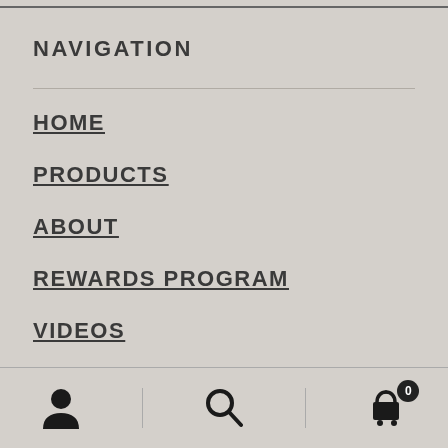NAVIGATION
HOME
PRODUCTS
ABOUT
REWARDS PROGRAM
VIDEOS
HOW TO
[Figure (other): Bottom navigation bar with user account icon, search icon, and shopping cart icon with badge showing 0]